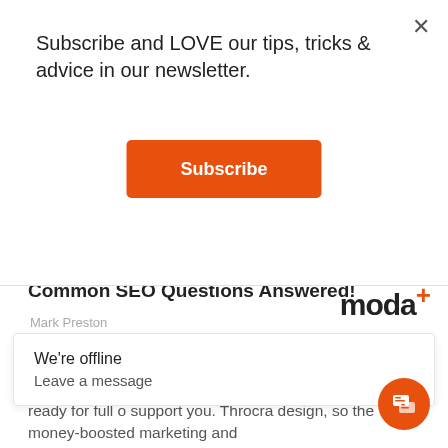Subscribe and LOVE our tips, tricks & advice in our newsletter.
[Figure (other): Orange subscribe button with white text reading 'Subscribe']
Common SEO Questions Answered!
Mark Preston
[Figure (logo): moda+ logo in black and orange]
Our Mission. Is to help grow your business today, whether you are just beginning the journey or you're ready for fu... o support you. Thro... cra... design, so the money-boosted marketing and
[Figure (other): We're offline / Leave a message chat widget popup]
[Figure (other): Orange chat icon button bottom right]
[Figure (other): Close (X) button top right of modal]